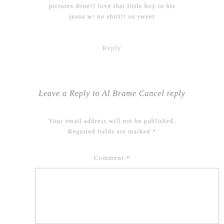pictures done!! love that little boy in his jeans w/ no shirt!! so sweet
Reply
Leave a Reply to Al Brame Cancel reply
Your email address will not be published. Required fields are marked *
Comment *